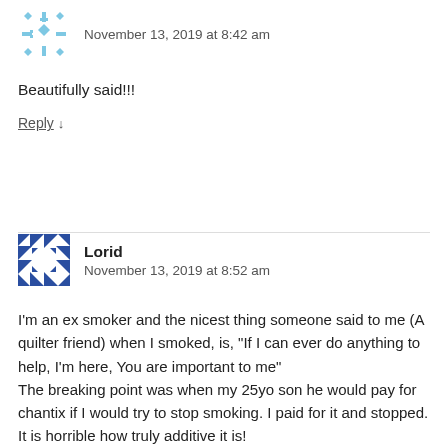November 13, 2019 at 8:42 am
Beautifully said!!!
Reply ↓
Lorid
November 13, 2019 at 8:52 am
I'm an ex smoker and the nicest thing someone said to me (A quilter friend) when I smoked, is, "If I can ever do anything to help, I'm here, You are important to me"
The breaking point was when my 25yo son he would pay for chantix if I would try to stop smoking. I paid for it and stopped. It is horrible how truly additive it is!
Much love to you and your family.